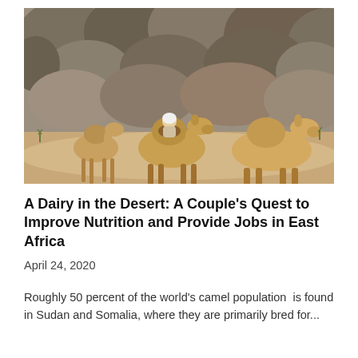[Figure (photo): A person riding a camel among a group of camels in a rocky desert landscape with boulders and sparse dry vegetation in the background.]
A Dairy in the Desert: A Couple's Quest to Improve Nutrition and Provide Jobs in East Africa
April 24, 2020
Roughly 50 percent of the world's camel population  is found in Sudan and Somalia, where they are primarily bred for...